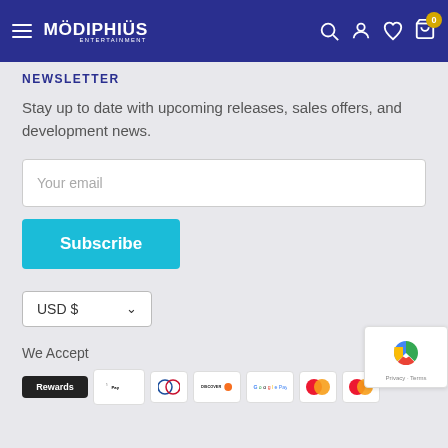[Figure (screenshot): Modiphius Entertainment website navigation bar with hamburger menu, logo, search, account, wishlist, and cart icons on dark blue background]
NEWSLETTER
Stay up to date with upcoming releases, sales offers, and development news.
Your email
Subscribe
USD $
We Accept
[Figure (logo): Payment method icons: Rewards, Apple Pay, Diners Club, Discover, Google Pay, Mastercard (two variants), PayPal]